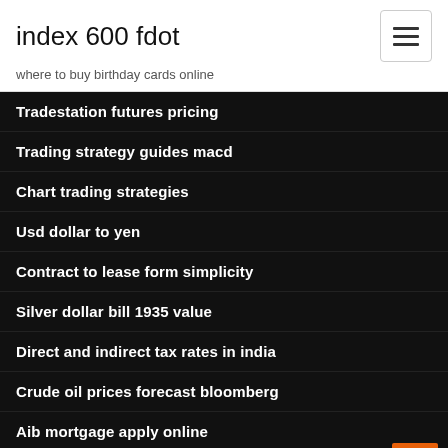index 600 fdot
where to buy birthday cards online
Tradestation futures pricing
Trading strategy guides macd
Chart trading strategies
Usd dollar to yen
Contract to lease form simplicity
Silver dollar bill 1935 value
Direct and indirect tax rates in india
Crude oil prices forecast bloomberg
Aib mortgage apply online
Futures trading bitcoin